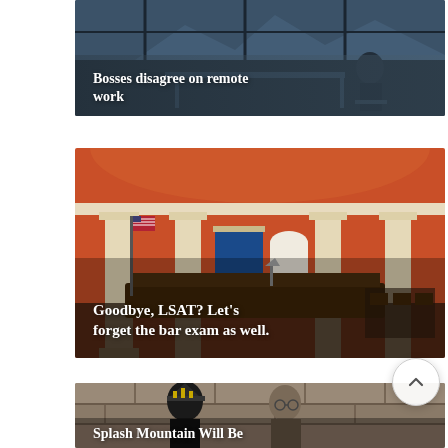[Figure (photo): Person sitting at a desk near large windows with mountains visible outside, dark moody lighting. Text overlay: 'Bosses disagree on remote work']
[Figure (photo): Courtroom with orange/red walls, white columns, American flag, wooden judge's bench and jury box. Text overlay: 'Goodbye, LSAT? Let’s forget the bar exam as well.']
[Figure (photo): Two people in cosplay/character costumes outdoors near stone wall. Text overlay: 'Splash Mountain Will Be']